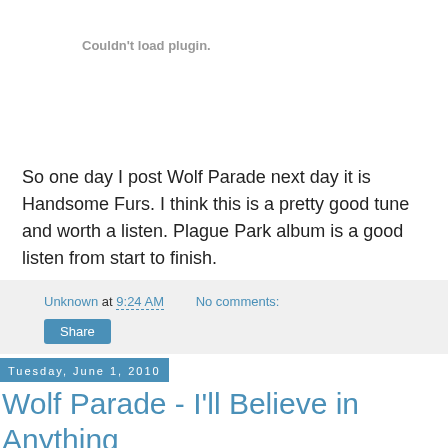[Figure (other): Plugin placeholder area with text 'Couldn't load plugin.']
So one day I post Wolf Parade next day it is Handsome Furs. I think this is a pretty good tune and worth a listen. Plague Park album is a good listen from start to finish.
Unknown at 9:24 AM   No comments:
Share
Tuesday, June 1, 2010
Wolf Parade - I'll Believe in Anything